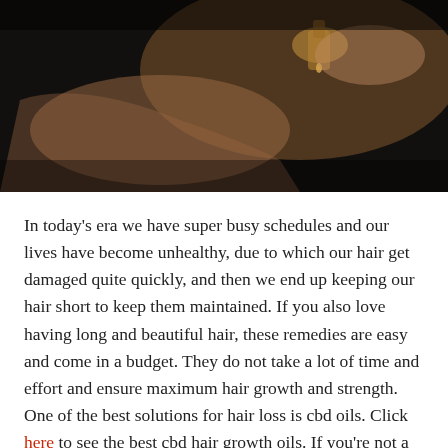[Figure (photo): Close-up photo of hands holding or dropping oil from a small amber glass bottle, dark moody background with warm tones]
In today's era we have super busy schedules and our lives have become unhealthy, due to which our hair get damaged quite quickly, and then we end up keeping our hair short to keep them maintained. If you also love having long and beautiful hair, these remedies are easy and come in a budget. They do not take a lot of time and effort and ensure maximum hair growth and strength. One of the best solutions for hair loss is cbd oils. Click here to see the best cbd hair growth oils. If you're not a fan, you can try these instead.